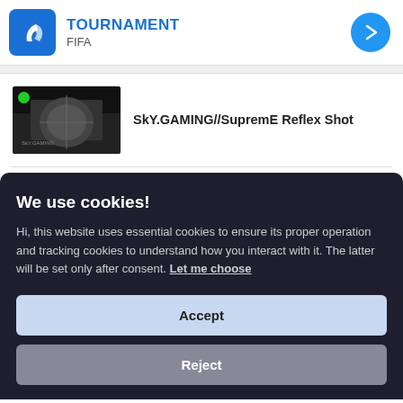TOURNAMENT – FIFA
[Figure (screenshot): Video thumbnail showing SkY.GAMING//SupremE Reflex Shot with a live green dot indicator]
SkY.GAMING//SupremE Reflex Shot
We use cookies!
Hi, this website uses essential cookies to ensure its proper operation and tracking cookies to understand how you interact with it. The latter will be set only after consent. Let me choose
Accept
Reject